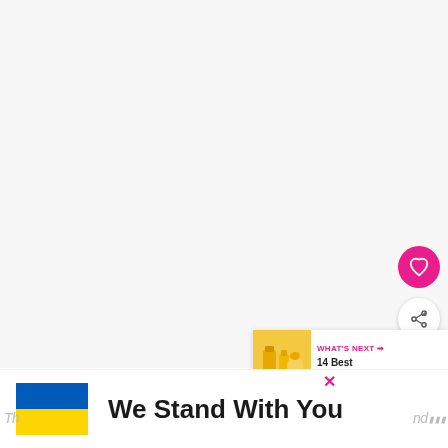[Figure (screenshot): Large white/light gray content area (main page content area, mostly blank/white)]
[Figure (illustration): Pink circular heart/favorite button icon on the right side]
[Figure (illustration): White circular share button with share icon on the right side]
[Figure (infographic): WHAT'S NEXT card showing Korean toner products image and text '14 Best Korean Tone...']
[Figure (illustration): Ukraine flag (blue and yellow) on bottom banner]
We Stand With You
Th...nd